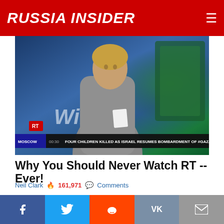RUSSIA INSIDER
[Figure (screenshot): RT news channel screenshot showing a female presenter in a gray top at a news desk. Lower third ticker reads: MOSCOW 00:30 FOUR CHILDREN KILLED AS ISRAEL RESUMES BOMBARDMENT OF #GAZA. RT logo visible in bottom left.]
Why You Should Never Watch RT -- Ever!
Neil Clark  161,971  Comments
[Figure (photo): Photo of soldiers in military helmets and camouflage gear riding on what appears to be a military vehicle. A label overlay reads WAR IS COMING.]
f  (Twitter bird)  (Reddit alien)  VK  (envelope)